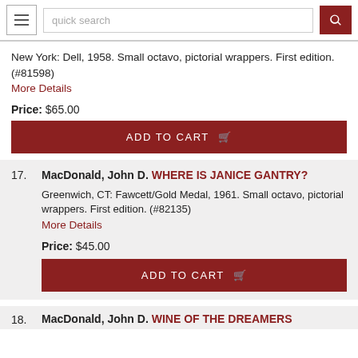quick search
New York: Dell, 1958. Small octavo, pictorial wrappers. First edition. (#81598)
More Details
Price: $65.00
ADD TO CART
17. MacDonald, John D. WHERE IS JANICE GANTRY?
Greenwich, CT: Fawcett/Gold Medal, 1961. Small octavo, pictorial wrappers. First edition. (#82135)
More Details
Price: $45.00
ADD TO CART
18. MacDonald, John D. WINE OF THE DREAMERS